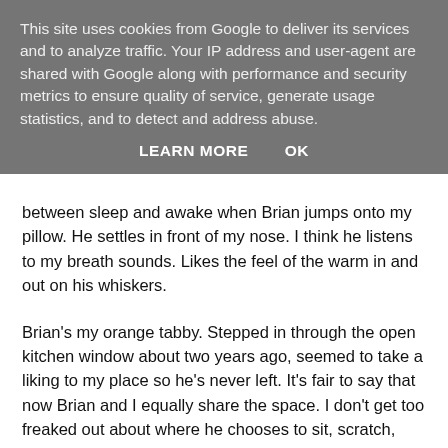This site uses cookies from Google to deliver its services and to analyze traffic. Your IP address and user-agent are shared with Google along with performance and security metrics to ensure quality of service, generate usage statistics, and to detect and address abuse.
LEARN MORE    OK
between sleep and awake when Brian jumps onto my pillow. He settles in front of my nose. I think he listens to my breath sounds. Likes the feel of the warm in and out on his whiskers.
Brian's my orange tabby. Stepped in through the open kitchen window about two years ago, seemed to take a liking to my place so he's never left. It's fair to say that now Brian and I equally share the space. I don't get too freaked out about where he chooses to sit, scratch, cough fur balls, roll or sleep. I pay the rent, keep our house warm and clean, leave yummy food in his bowl and lots of fresh water. That's just the way it is when you live with a cat.